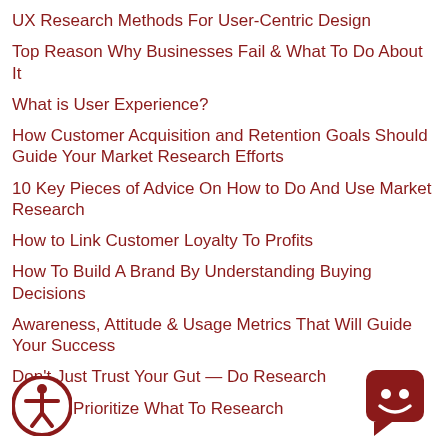UX Research Methods For User-Centric Design
Top Reason Why Businesses Fail & What To Do About It
What is User Experience?
How Customer Acquisition and Retention Goals Should Guide Your Market Research Efforts
10 Key Pieces of Advice On How to Do And Use Market Research
How to Link Customer Loyalty To Profits
How To Build A Brand By Understanding Buying Decisions
Awareness, Attitude & Usage Metrics That Will Guide Your Success
Don’t Just Trust Your Gut — Do Research
How To Prioritize What To Research
[Figure (logo): Circular accessibility icon with human figure, dark red border]
[Figure (logo): Dark red square chat bubble icon with smiley face]